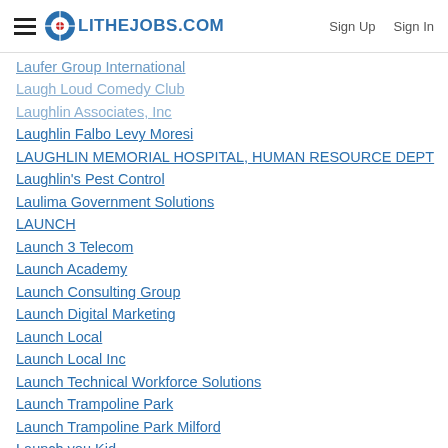OLITHEJOBS.COM | Sign Up | Sign In
Laufer Group International
Laugh Loud Comedy Club
Laughlin Associates, Inc
Laughlin Falbo Levy Moresi
LAUGHLIN MEMORIAL HOSPITAL, HUMAN RESOURCE DEPT
Laughlin's Pest Control
Laulima Government Solutions
LAUNCH
Launch 3 Telecom
Launch Academy
Launch Consulting Group
Launch Digital Marketing
Launch Local
Launch Local Inc
Launch Technical Workforce Solutions
Launch Trampoline Park
Launch Trampoline Park Milford
Launch you Kid
Launchpoint
LaunchSource
Laura A Nagle & Associates
Laura and John Arnold Foundation
Laura Geller Beauty, LLC